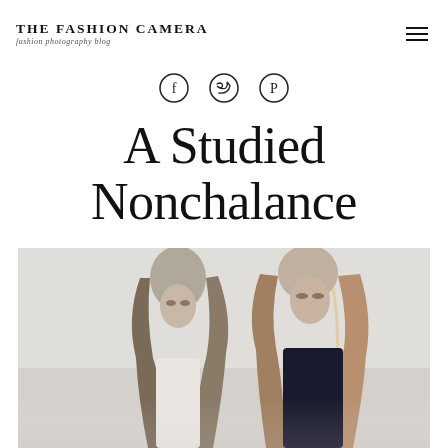THE FASHION CAMERA — fashion photography blog
[Figure (illustration): Three social media icon circles: Facebook (f), Twitter (bird), Pinterest (P)]
A Studied Nonchalance
[Figure (photo): Two female fashion models with long wavy hair, one in white and one in dark blue/navy, posed against a light background]